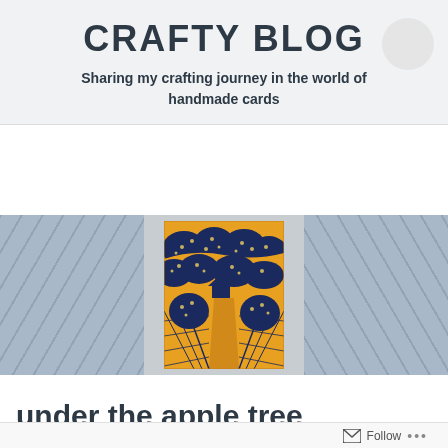CRAFTY BLOG
Sharing my crafting journey in the world of handmade cards
[Figure (photo): Blog header image with three panels: left and right panels showing grey wood-grain texture, center panel showing a handmade card with a woodblock print illustration of a countryside scene with apple trees, a house, and fields in orange and dark blue/navy colors.]
under the apple tree
Follow ...